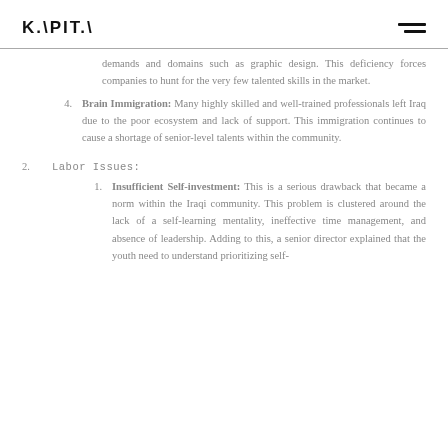K.\PIT.\ [logo]
demands and domains such as graphic design. This deficiency forces companies to hunt for the very few talented skills in the market.
4. Brain Immigration: Many highly skilled and well-trained professionals left Iraq due to the poor ecosystem and lack of support. This immigration continues to cause a shortage of senior-level talents within the community.
2. Labor Issues:
1. Insufficient Self-investment: This is a serious drawback that became a norm within the Iraqi community. This problem is clustered around the lack of a self-learning mentality, ineffective time management, and absence of leadership. Adding to this, a senior director explained that the youth need to understand prioritizing self-